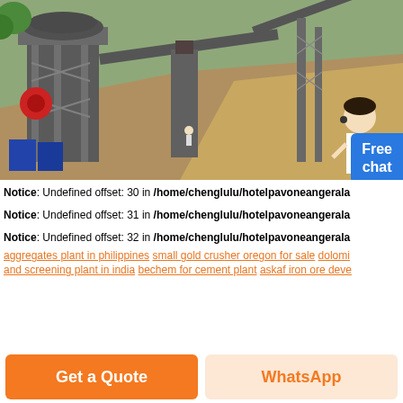[Figure (photo): Aerial view of a large industrial stone crushing and screening plant with conveyor belts, crushers, and excavated terrain in the background.]
Notice: Undefined offset: 30 in /home/chenglulu/hotelpavoneangerala
Notice: Undefined offset: 31 in /home/chenglulu/hotelpavoneangerala
Notice: Undefined offset: 32 in /home/chenglulu/hotelpavoneangerala
aggregates plant in philippines  small gold crusher oregon for sale  dolomi  and screening plant in india  bechem for cement plant  askaf iron ore deve
Get a Quote
WhatsApp